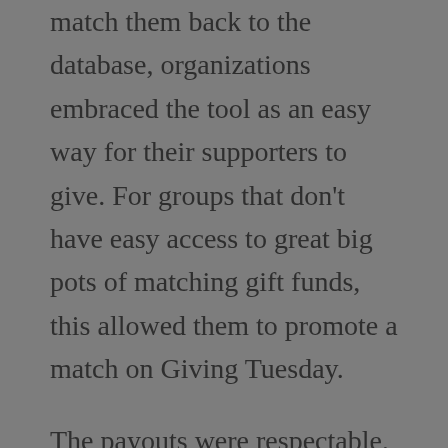to get donor email addresses and be able to match them back to the database, organizations embraced the tool as an easy way for their supporters to give. For groups that don't have easy access to great big pots of matching gift funds, this allowed them to promote a match on Giving Tuesday.
The payouts were respectable, but not huge game changers. Some groups raised over $10k through Facebook, and that can do a lot of good in this world! When we looked at the amount raised through Giving Tuesday Facebook fundraisers as a percentage of the total raised online on Giving Tuesday for 11 organizations, most ranged from 1-5%. The